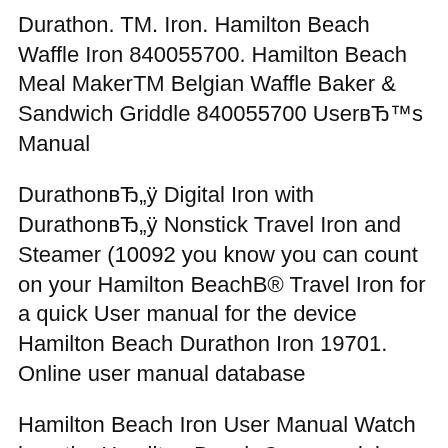Durathon. TM. Iron. Hamilton Beach Waffle Iron 840055700. Hamilton Beach Meal MakerTM Belgian Waffle Baker & Sandwich Griddle 840055700 UserвЂ™s Manual
DurathonвЂ„ÿ Digital Iron with DurathonвЂ„ÿ Nonstick Travel Iron and Steamer (10092 you know you can count on your Hamilton BeachB® Travel Iron for a quick User manual for the device Hamilton Beach Durathon Iron 19701. Online user manual database
Hamilton Beach Iron User Manual Watch how the Hamilton Beach Commercial Durathon iron holds up against. Manual 1 Yr Lmtd Warranty User Product Photo.